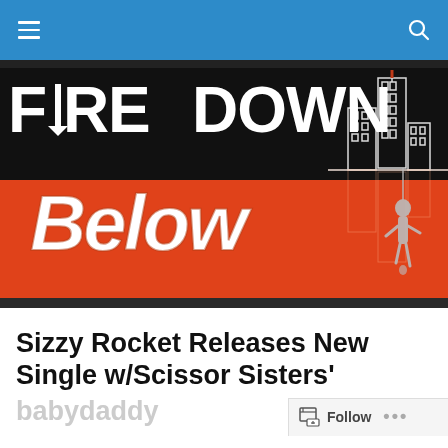Fire Down Below – navigation bar
[Figure (logo): Fire Down Below website logo with black upper half showing 'FIRE DOWN' in bold white uppercase and orange lower half showing 'Below' in bold italic white text, with a cityscape silhouette and hanging figure on the right side]
Sizzy Rocket Releases New Single w/Scissor Sisters' babydaddy